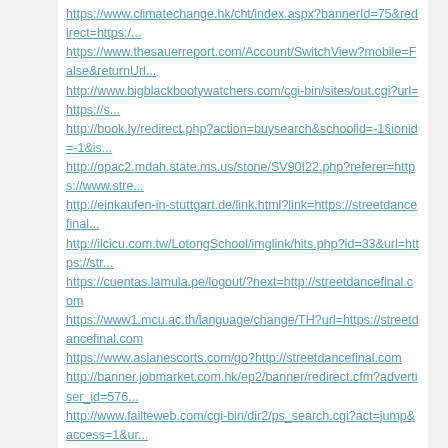https://www.climatechange.hk/cht/index.aspx?bannerId=75&redirect=https:/...
https://www.thesauerreport.com/Account/SwitchView?mobile=False&returnUrl...
http://www.bigblackbootywatchers.com/cgi-bin/sites/out.cgi?url=https://s...
http://book.ly/redirect.php?action=buysearch&schoolid=-1&sectionid=-1&is...
http://opac2.mdah.state.ms.us/stone/SV90I22.php?referer=https://www.stre...
http://einkaufen-in-stuttgart.de/link.html?link=https://streetdancefinal...
http://ilcicu.com.tw/LotongSchool/imglink/hits.php?id=33&url=https://str...
https://cuentas.lamula.pe/logout/?next=http://streetdancefinal.com
https://www1.mcu.ac.th/language/change/TH?url=https://streetdancefinal.com
https://www.asianescorts.com/go?http://streetdancefinal.com
http://banner.jobmarket.com.hk/ep2/banner/redirect.cfm?advertiser_id=576...
http://www.failteweb.com/cgi-bin/dir2/ps_search.cgi?act=jump&access=1&ur...
https://accesssanmiguel.com/go.php?item=1132&target=https://streetdancef...
https://www.iran-emrooz.net/index.php?URL=http://www.streetdancefinal.com/
https://shobijo.caprug.com/?wptouch_switch=desktop&redirect=https://stre...
http://seoul.adop.co.kr/con.php?url=https://streetdancefinal.com
https://www.maisev.com/revive/www/delivery/ck.php?ct=1&oaparams=2__banne...
https://www.anpz.kz/bitrix/rk.php?goto=https://streetdancefinal.com